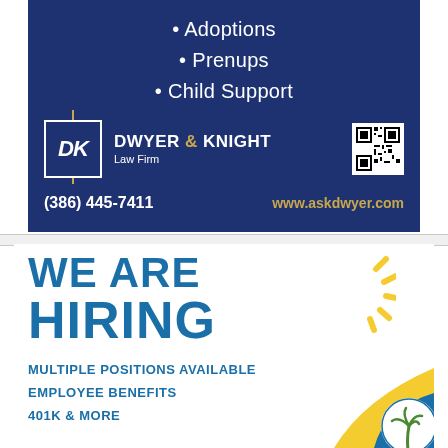Adoptions
Prenups
Child Support
[Figure (logo): Dwyer & Knight Law Firm logo with DK letters, sword graphic, QR code, phone (386) 445-7411, and website www.askdwyer.com on dark blue background]
WE ARE HIRING
MULTIPLE POSITIONS AVAILABLE
EMPLOYEE BENEFITS
401K & MORE
[Figure (logo): Company logo with palm tree icon, yellow wave, blue circle on white background, bottom right corner]